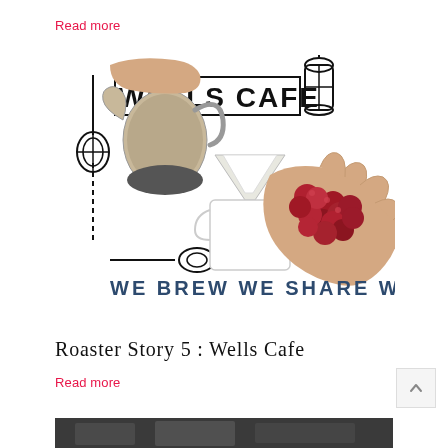Read more
[Figure (illustration): Wells Cafe logo illustration: hands pouring coffee from a gooseneck kettle into a dripper, and hands holding red coffee cherries. Text reads 'WELLS CAFE' and 'WE BREW WE SHARE WE CARE'.]
Roaster Story 5 : Wells Cafe
Read more
[Figure (photo): Partial black and white photo at bottom of page, cropped.]